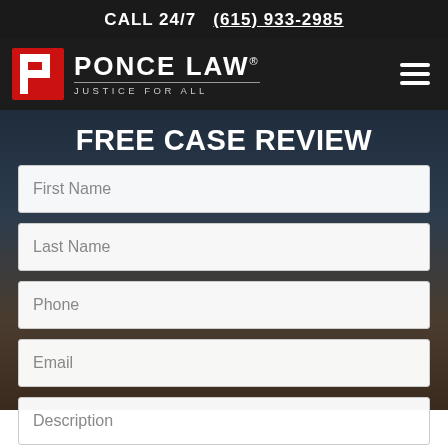CALL 24/7  (615) 933-2985
[Figure (logo): Ponce Law logo with red stylized P icon and text PONCE LAW / JUSTICE FOR ALL]
FREE CASE REVIEW
First Name
Last Name
Phone
Email
Description